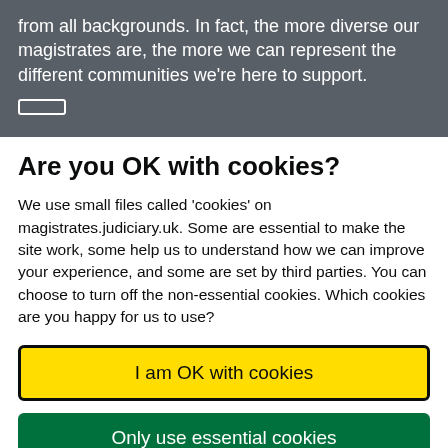from all backgrounds. In fact, the more diverse our magistrates are, the more we can represent the different communities we're here to support.
Are you OK with cookies?
We use small files called 'cookies' on magistrates.judiciary.uk. Some are essential to make the site work, some help us to understand how we can improve your experience, and some are set by third parties. You can choose to turn off the non-essential cookies. Which cookies are you happy for us to use?
I am OK with cookies
Only use essential cookies
Choose which cookies we use ❯